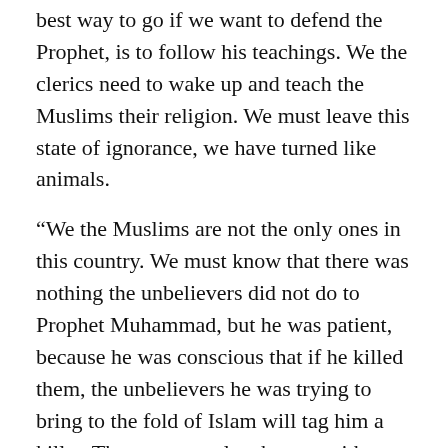best way to go if we want to defend the Prophet, is to follow his teachings. We the clerics need to wake up and teach the Muslims their religion. We must leave this state of ignorance, we have turned like animals.
“We the Muslims are not the only ones in this country. We must know that there was nothing the unbelievers did not do to Prophet Muhammad, but he was patient, because he was conscious that if he killed them, the unbelievers he was trying to bring to the fold of Islam will tag him a killer. There are people who are neither Muslims not Christians in Nigeria, and everyone is trying to win their souls.
“Also, there are people who are not Muslims, whom we are preaching Islam to, so that they can enter the fold of Islam and be salvaged in the hereafter. If we now begin to kill people, they will say it is even from the leader of our